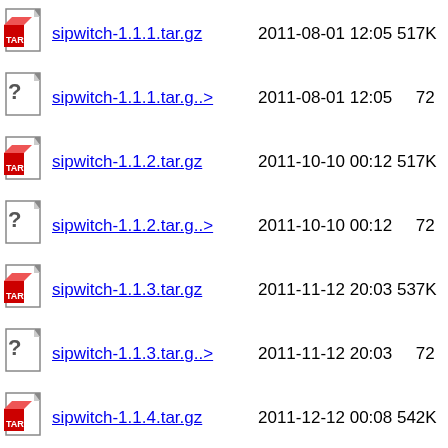sipwitch-1.1.1.tar.gz   2011-08-01 12:05 517K
sipwitch-1.1.1.tar.g..> 2011-08-01 12:05  72
sipwitch-1.1.2.tar.gz   2011-10-10 00:12 517K
sipwitch-1.1.2.tar.g..> 2011-10-10 00:12  72
sipwitch-1.1.3.tar.gz   2011-11-12 20:03 537K
sipwitch-1.1.3.tar.g..> 2011-11-12 20:03  72
sipwitch-1.1.4.tar.gz   2011-12-12 00:08 542K
sipwitch-1.1.4.tar.g..> 2011-12-12 00:08  72
sipwitch-1.2.0.tar.gz   2012-01-02 19:53 542K
sipwitch-1.2.0.tar.g..> 2012-01-02 19:53  72
sipwitch-1.2.1.tar.gz   2012-01-15 22:00 544K
sipwitch-1.2.1.tar.g..> 2012-01-15 22:00  72
sipwitch-1.2.2.tar.gz   2012-02-11 15:53 546K
sipwitch-1.2.2.tar.g..> 2012-02-11 15:53  72
sipwitch-1.2.3.tar.gz   2012-02-28 17:56 547K
sipwitch-1.2.3.tar.g..> 2012-02-28 17:56  72
sipwitch-1.2.4.tar.gz   2012-04-25 22:28 547K
sipwitch-1.2.4.tar.g..> 2012-04-25 22:28  72